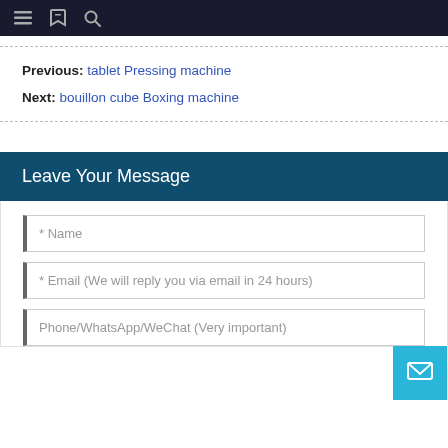Navigation bar with menu, bookmark, and search icons
Previous: tablet Pressing machine
Next: bouillon cube Boxing machine
Leave Your Message
* Name
* Email (We will reply you via email in 24 hours)
Phone/WhatsApp/WeChat (Very important)